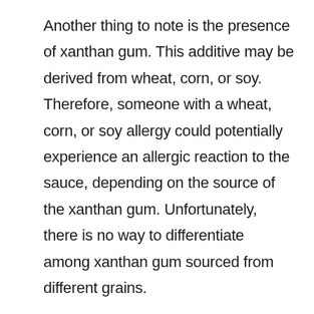Another thing to note is the presence of xanthan gum. This additive may be derived from wheat, corn, or soy. Therefore, someone with a wheat, corn, or soy allergy could potentially experience an allergic reaction to the sauce, depending on the source of the xanthan gum. Unfortunately, there is no way to differentiate among xanthan gum sourced from different grains.